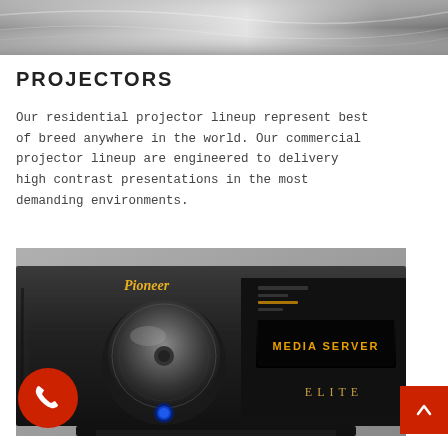[Figure (photo): Grayscale/silver abstract metallic surface or lens — top banner image]
PROJECTORS
Our residential projector lineup represent best of breed anywhere in the world. Our commercial projector lineup are engineered to delivery high contrast presentations in the most demanding environments.
[Figure (photo): Pioneer Elite AV receiver front panel showing large volume knob, blue power button, display reading MEDIA SERVER, and ELITE branding in gold text on black brushed aluminum chassis]
[Figure (other): Red circular phone/call button in bottom left corner]
[Figure (other): Red square scroll-to-top button with white chevron in bottom right corner]